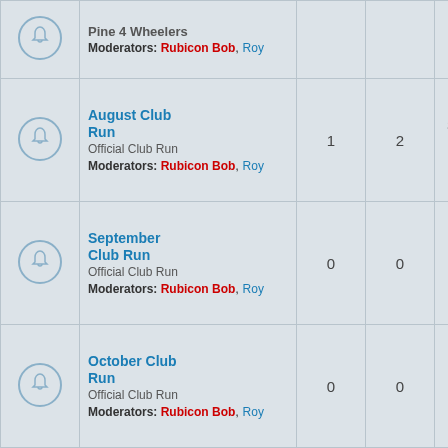|  | Forum | Topics | Posts | Last post |
| --- | --- | --- | --- | --- |
| [icon] | Pine 4 Wheelers
Moderators: Rubicon Bob, Roy |  |  |  |
| [icon] | August Club Run
Official Club Run
Moderators: Rubicon Bob, Roy | 1 | 2 | Sun Aug 07, 2022 3:33 pm
ripperlv |
| [icon] | September Club Run
Official Club Run
Moderators: Rubicon Bob, Roy | 0 | 0 | No posts |
| [icon] | October Club Run
Official Club Run
Moderators: Rubicon Bob, Roy | 0 | 0 | No posts |
| [icon] | November Club Run
Official Club Run
Moderators: Rubicon Bob, Roy | 0 | 0 | No posts |
| [icon] | Past Club Run... |  |  |  |